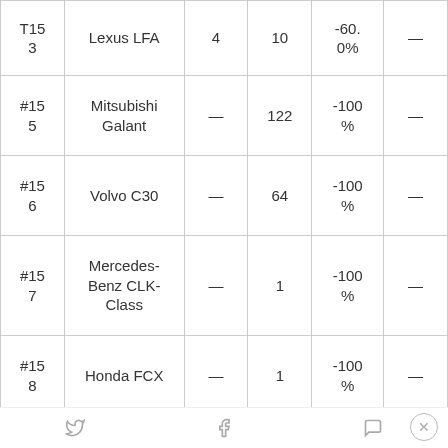| Rank | Model | 2023 | 2022 | Change |  |
| --- | --- | --- | --- | --- | --- |
| T15
3 | Lexus LFA | 4 | 10 | -60.
0% | — |
| #15
5 | Mitsubishi
Galant | — | 122 | -100
% | — |
| #15
6 | Volvo C30 | — | 64 | -100
% | — |
| #15
7 | Mercedes-
Benz CLK-
Class | — | 1 | -100
% | — |
| #15
8 | Honda FCX | — | 1 | -100
% | — |
Social share bar with Twitter, Facebook, Messenger icons